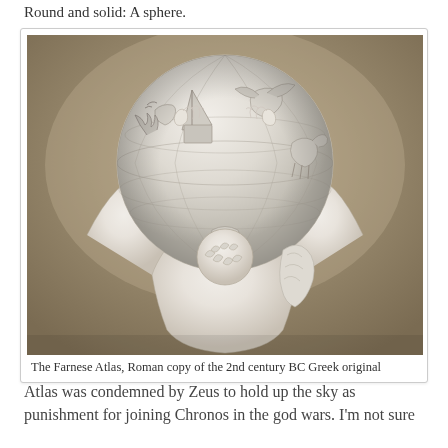Round and solid: A sphere.
[Figure (photo): Photograph of the Farnese Atlas marble statue: a muscular bearded male figure supports a large celestial globe covered in carved constellations and mythological figures on his shoulders, viewed from the back.]
The Farnese Atlas, Roman copy of the 2nd century BC Greek original
Atlas was condemned by Zeus to hold up the sky as punishment for joining Chronos in the god wars. I'm not sure